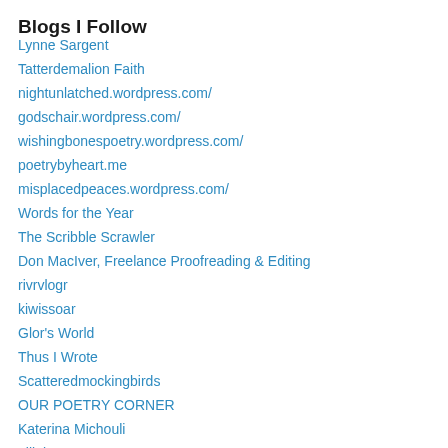Blogs I Follow
Lynne Sargent
Tatterdemalion Faith
nightunlatched.wordpress.com/
godschair.wordpress.com/
wishingbonespoetry.wordpress.com/
poetrybyheart.me
misplacedpeaces.wordpress.com/
Words for the Year
The Scribble Scrawler
Don MacIver, Freelance Proofreading & Editing
rivrvlogr
kiwissoar
Glor's World
Thus I Wrote
Scatteredmockingbirds
OUR POETRY CORNER
Katerina Michouli
elliekamran